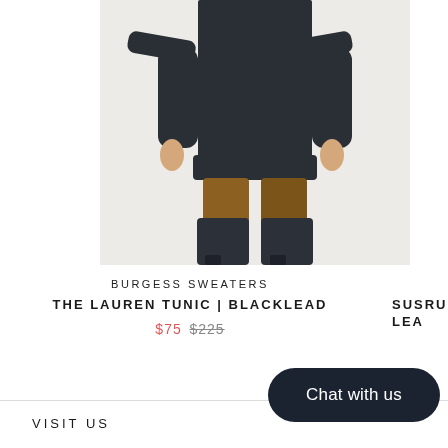[Figure (photo): A female model wearing a black long-sleeve ribbed tunic top with rust/tan trousers and tall black heeled boots, photographed against a light grey/white background. Only the body from chest down to boots is visible.]
BURGESS SWEATERS
THE LAUREN TUNIC | BLACKLEAD
$75  $225
SUSRU LEA
Chat with us
VISIT US